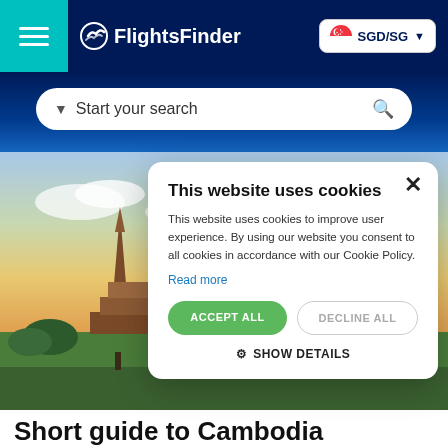[Figure (logo): FlightsFinder website header with hamburger menu, logo, and SGD/SG currency selector on dark navy background]
[Figure (screenshot): Search bar with 'Start your search' placeholder and magnifier icon on gradient blue background]
[Figure (photo): Hero image of ancient temple ruins (Cambodia/Ayutthaya style) at sunset with dramatic sky]
This website uses cookies
This website uses cookies to improve user experience. By using our website you consent to all cookies in accordance with our Cookie Policy.
Read more
ACCEPT ALL
DECLINE ALL
SHOW DETAILS
Short guide to Cambodia